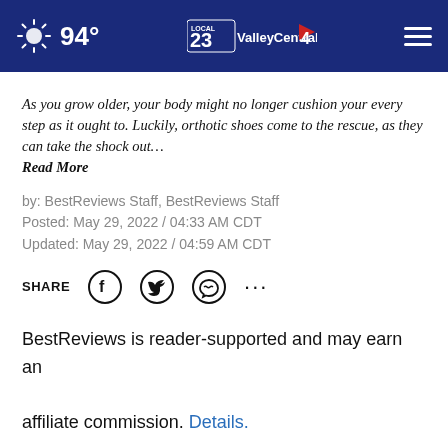94° ValleyCentral.com
As you grow older, your body might no longer cushion your every step as it ought to. Luckily, orthotic shoes come to the rescue, as they can take the shock out… Read More
by: BestReviews Staff, BestReviews Staff
Posted: May 29, 2022 / 04:33 AM CDT
Updated: May 29, 2022 / 04:59 AM CDT
SHARE
BestReviews is reader-supported and may earn an affiliate commission. Details.
Which orthotic shoes are best?